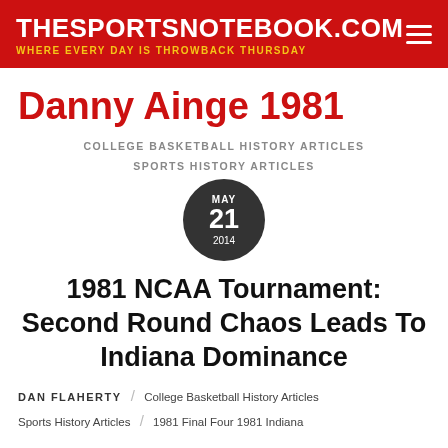THESPORTSNOTEBOOK.COM — WHERE EVERY DAY IS THROWBACK THURSDAY
Danny Ainge 1981
COLLEGE BASKETBALL HISTORY ARTICLES
SPORTS HISTORY ARTICLES
MAY 21 2014
1981 NCAA Tournament: Second Round Chaos Leads To Indiana Dominance
DAN FLAHERTY / College Basketball History Articles Sports History Articles / 1981 Final Four 1981 Indiana